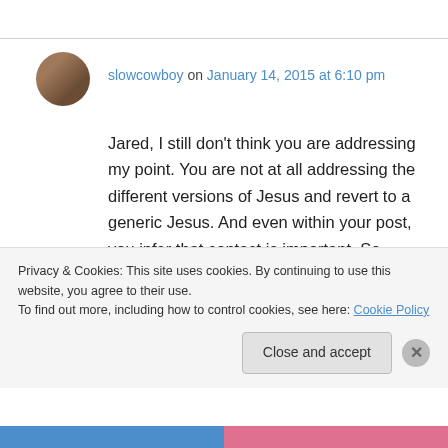slowcowboy on January 14, 2015 at 6:10 pm
Jared, I still don't think you are addressing my point. You are not at all addressing the different versions of Jesus and revert to a generic Jesus. And even within your post, you infer that contact is important. So, contact with who? Jesus? I've raised the issue that there is more than one version, so which one?
Privacy & Cookies: This site uses cookies. By continuing to use this website, you agree to their use. To find out more, including how to control cookies, see here: Cookie Policy
Close and accept